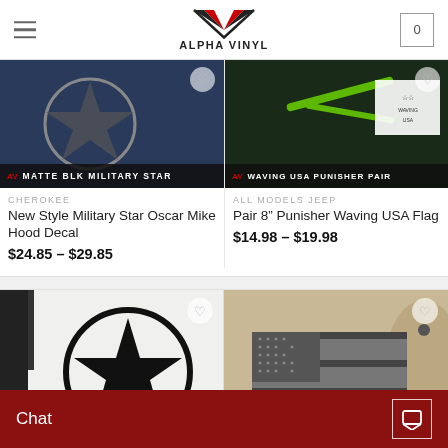Alpha Vinyl - navigation header with logo, hamburger menu, and cart
[Figure (screenshot): Product image: Matte Black Military Star decal on blue vehicle hood with label bar 'MATTE BLK MILITARY STAR']
CHEROKEE
New Style Military Star Oscar Mike Hood Decal
$24.85 – $29.85
[Figure (screenshot): Product image: Waving USA Punisher Pair decal with label bar 'WAVING USA PUNISHER PAIR']
ALL MODELS JEEP
Pair 8" Punisher Waving USA Flag
$14.98 – $19.98
[Figure (photo): Military star decal on white Jeep door/fender - large black distressed star in circle]
[Figure (photo): American flag decal on tan/beige Jeep hood panel - black and grey subdued US flag]
Chat